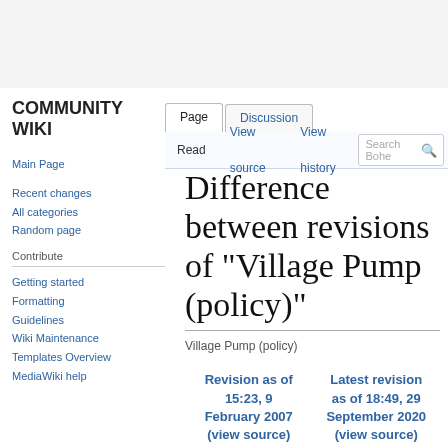COMMUNITY WIKI
Page | Discussion | Read | View source | View history | Search Bohe
Difference between revisions of "Village Pump (policy)"
Village Pump (policy)
Main Page
Recent changes
All categories
Random page
Contribute
Getting started
Formatting
Guidelines
Wiki Maintenance
Templates Overview
MediaWiki help
| Revision as of 15:23, 9 February 2007 (view source) | Latest revision as of 18:49, 29 September 2020 (view source) |
| --- | --- |
| Hoz (talk | | R3vo (talk | |